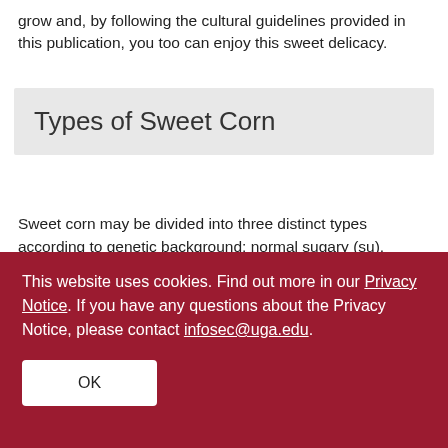grow and, by following the cultural guidelines provided in this publication, you too can enjoy this sweet delicacy.
Types of Sweet Corn
Sweet corn may be divided into three distinct types according to genetic background: normal sugary (su), sugary enhanced (se) and supersweet (sh₂). There are also varieties now containing a combination of either two or all three of these genes, exhibiting qualities of each. These are sometimes designated as synergistic (sy) or augmented supersweet (shA.)
This website uses cookies. Find out more in our Privacy Notice. If you have any questions about the Privacy Notice, please contact infosec@uga.edu.